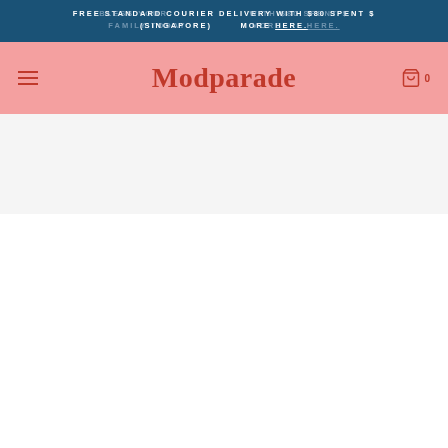FREE STANDARD COURIER DELIVERY WITH $80 SPENT (SINGAPORE) MORE HERE. | BLESS YOUR FAMILY TODAY MORE HERE.
Modparade
[Figure (screenshot): E-commerce website header with announcement bar and navigation bar showing Modparade logo, hamburger menu, and shopping cart icon with count 0]